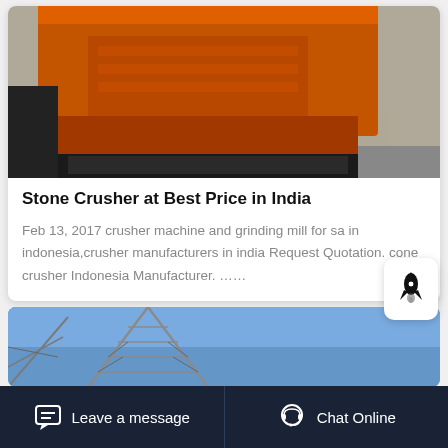[Figure (photo): Close-up photo of an orange industrial stone crusher machine on a warehouse floor with yellow markings]
Stone Crusher at Best Price in India
Feb 13, 2017 crusher machine and grinding mill for sa in indonesia,crusher manufacturers in india Request Quotation. cone crusher Indonesia Manufacturer. ……
[Figure (photo): Photo of steel lattice tower or transmission structure against a blue sky]
Leave a message
Chat Online